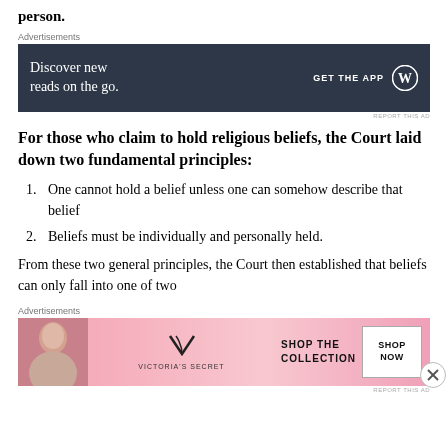person.
[Figure (other): Advertisement banner: 'Discover new reads on the go. GET THE APP' with WordPress logo on dark background]
For those who claim to hold religious beliefs, the Court laid down two fundamental principles:
1. One cannot hold a belief unless one can somehow describe that belief
2. Beliefs must be individually and personally held.
From these two general principles, the Court then established that beliefs can only fall into one of two
[Figure (other): Victoria's Secret advertisement: 'SHOP THE COLLECTION' with SHOP NOW button and model photo]